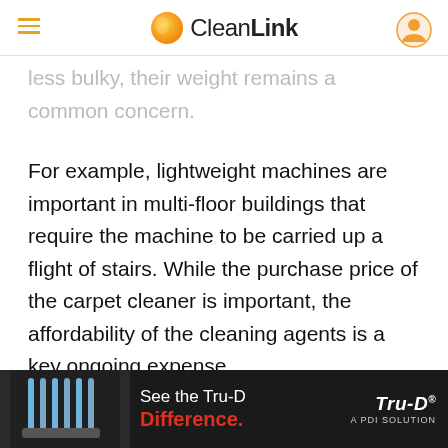CleanLink
less bulky, their weight remains a common concern.
For example, lightweight machines are important in multi-floor buildings that require the machine to be carried up a flight of stairs. While the purchase price of the carpet cleaner is important, the affordability of the cleaning agents is a key ongoing expense.
A commercial-grade carpet cleaning machine should be...
[Figure (photo): Advertisement banner for Tru-D UV light device. Shows UV light device on left, text 'See the Tru-D Difference.' in center (Difference in red), and Tru-D A PDI Solution logo on right, on dark background.]